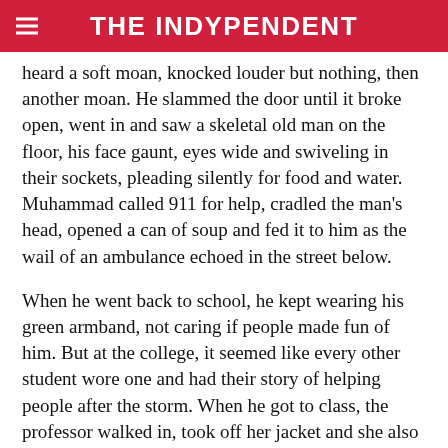THE INDYPENDENT
heard a soft moan, knocked louder but nothing, then another moan. He slammed the door until it broke open, went in and saw a skeletal old man on the floor, his face gaunt, eyes wide and swiveling in their sockets, pleading silently for food and water. Muhammad called 911 for help, cradled the man's head, opened a can of soup and fed it to him as the wail of an ambulance echoed in the street below.
When he went back to school, he kept wearing his green armband, not caring if people made fun of him. But at the college, it seemed like every other student wore one and had their story of helping people after the storm. When he got to class, the professor walked in, took off her jacket and she also had a green armband, and then the slides of the earth affected by global